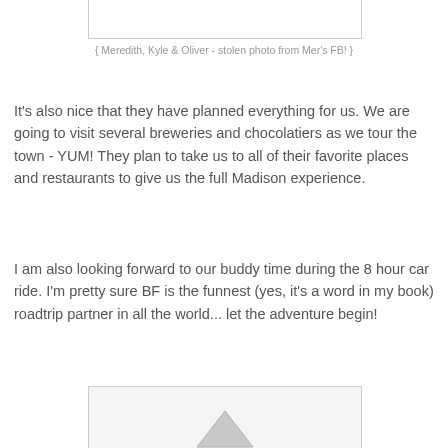[Figure (photo): Partial image at top of page, cropped, showing bottom edge of a photo]
{ Meredith, Kyle & Oliver - stolen photo from Mer's FB! }
It's also nice that they have planned everything for us. We are going to visit several breweries and chocolatiers as we tour the town - YUM! They plan to take us to all of their favorite places and restaurants to give us the full Madison experience.
I am also looking forward to our buddy time during the 8 hour car ride. I'm pretty sure BF is the funnest (yes, it's a word in my book) roadtrip partner in all the world... let the adventure begin!
[Figure (photo): Partial image at bottom of page, showing top portion of a photo with a light triangle/mountain shape visible]